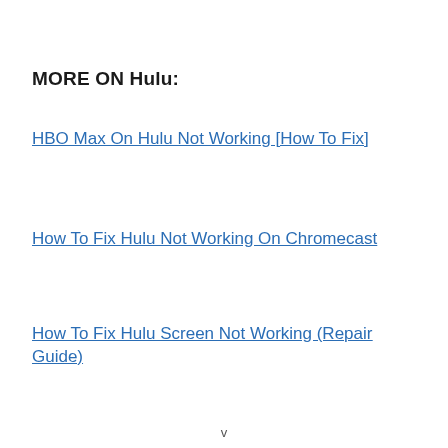MORE ON Hulu:
HBO Max On Hulu Not Working [How To Fix]
How To Fix Hulu Not Working On Chromecast
How To Fix Hulu Screen Not Working (Repair Guide)
v